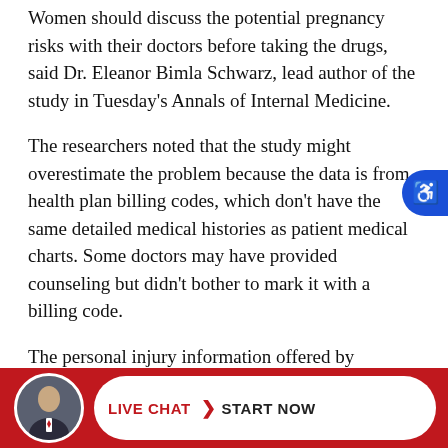Women should discuss the potential pregnancy risks with their doctors before taking the drugs, said Dr. Eleanor Bimla Schwarz, lead author of the study in Tuesday's Annals of Internal Medicine.
The researchers noted that the study might overestimate the problem because the data is from health plan billing codes, which don't have the same detailed medical histories as patient medical charts. Some doctors may have provided counseling but didn't bother to mark it with a billing code.
The personal injury information offered by Pasadena, California personal injury Lawyer and contained herein, regarding Pasadena, California personal injury statutes and Pasadena, California personal injury claimants' rights, is general in scope. No Pasadena, California personal injury attorney/client relationship with our
[Figure (other): Footer bar with red background, circular avatar photo of a man in suit, and a white pill-shaped button reading LIVE CHAT > START NOW]